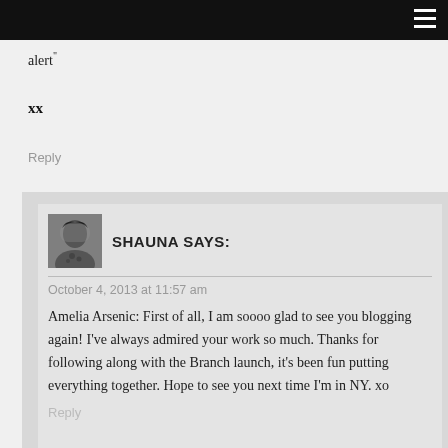alert"
xx
Reply
SHAUNA SAYS:
October 4, 2013 at 11:57 am
Amelia Arsenic: First of all, I am soooo glad to see you blogging again! I've always admired your work so much. Thanks for following along with the Branch launch, it's been fun putting everything together. Hope to see you next time I'm in NY. xo
Reply